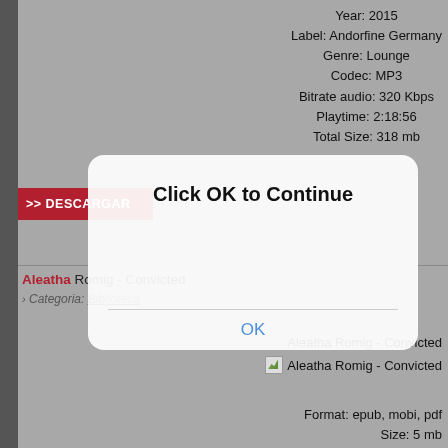Year: 2015
Label: Andorfine Germany
Genre: Lounge
Codec: MP3
Bitrate audio: 320 Kbps
Playtime: 2:18:56
Total Size: 318 mb
>> DESCARGAR
Aleatha Romig - Convicted
› Categoria: Biblioteca
[Figure (screenshot): iOS-style modal dialog with 'Click OK to Continue' title and an OK button]
Aleatha Romig - Convicted
[Figure (photo): Broken image placeholder for Aleatha Romig - Convicted]
Format: epub, mobi, pdf
Size: 5 mb